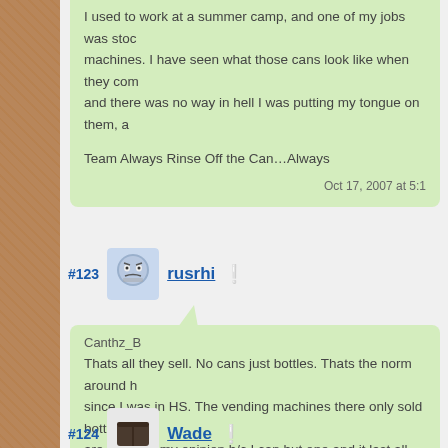I used to work at a summer camp, and one of my jobs was stocking the vending machines. I have seen what those cans look like when they come in, and there was no way in hell I was putting my tongue on them, a

Team Always Rinse Off the Can…Always
Oct 17, 2007 at 5:1
#123 rusrhi
Canthz_B
Thats all they sell. No cans just bottles. Thats the norm around h since I was in HS. The vending machines there only sold bottles are better in my opinion b/c I can but one and it last all day. Just tops on tight and stick in the freezer when it gets warm.
Oct 17, 2007 at 5:1
#124 Wade